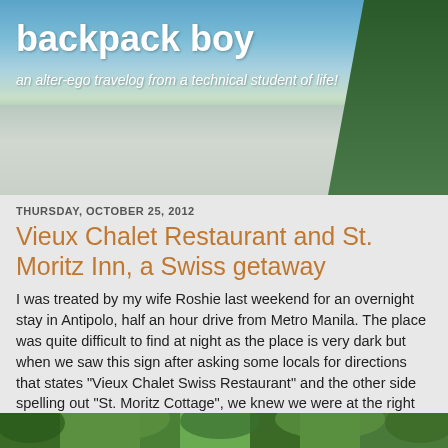[Figure (photo): Blog header banner showing a road with blue sky, clouds, and green trees on the sides]
backpack boy
an alter-ego travelog from a technical student of life!
THURSDAY, OCTOBER 25, 2012
Vieux Chalet Restaurant and St. Moritz Inn, a Swiss getaway
I was treated by my wife Roshie last weekend for an overnight stay in Antipolo, half an hour drive from Metro Manila. The place was quite difficult to find at night as the place is very dark but when we saw this sign after asking some locals for directions that states "Vieux Chalet Swiss Restaurant" and the other side spelling out "St. Moritz Cottage", we knew we were at the right place. Picture below was taken the morning after.
[Figure (photo): Outdoor photo showing green trees and foliage, taken the morning after arrival]